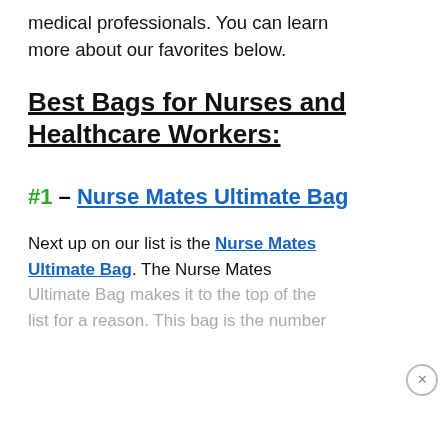medical professionals. You can learn more about our favorites below.
Best Bags for Nurses and Healthcare Workers:
#1 – Nurse Mates Ultimate Bag
Next up on our list is the Nurse Mates Ultimate Bag. The Nurse Mates Ultimate Bag makes it to the top of the list for a reason. This bag is the number